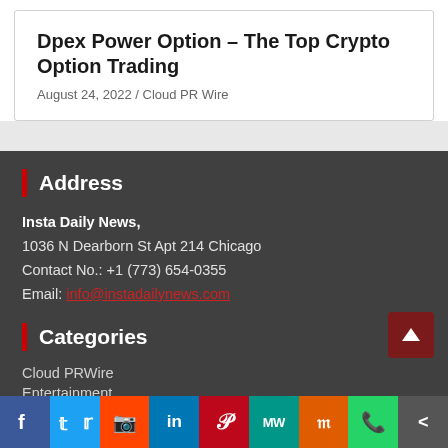Dpex Power Option – The Top Crypto Option Trading
August 24, 2022 / Cloud PR Wire
Address
Insta Daily News,
1036 N Dearborn St Apt 214 Chicago
Contact No.: +1 (773) 654-0355
Email: info@instadailynews.com
Categories
Cloud PRWire
Entertainment
[Figure (infographic): Social sharing bar with icons: Facebook (blue), Twitter (light blue), Reddit (orange-red), LinkedIn (dark blue), Pinterest (red), MW (teal), Mix (orange), WhatsApp (green), Share (gray)]